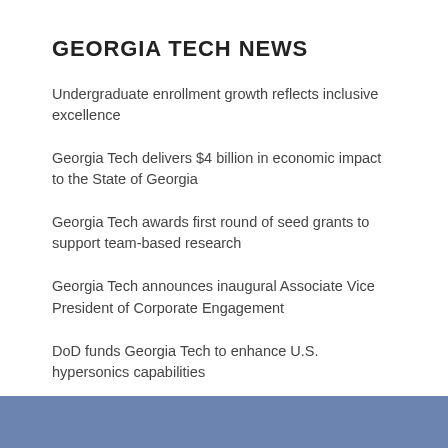GEORGIA TECH NEWS
Undergraduate enrollment growth reflects inclusive excellence
Georgia Tech delivers $4 billion in economic impact to the State of Georgia
Georgia Tech awards first round of seed grants to support team-based research
Georgia Tech announces inaugural Associate Vice President of Corporate Engagement
DoD funds Georgia Tech to enhance U.S. hypersonics capabilities
Read More